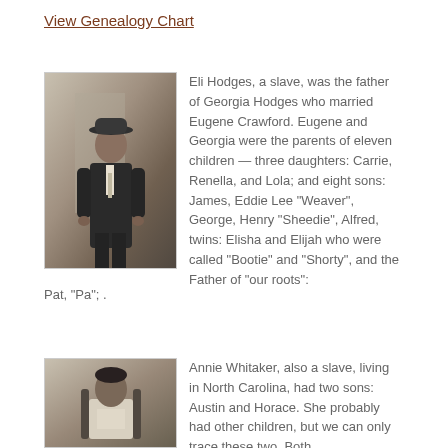View Genealogy Chart
[Figure (photo): Black and white portrait photograph of a man wearing a hat and suit, standing outdoors]
Eli Hodges, a slave, was the father of Georgia Hodges who married Eugene Crawford. Eugene and Georgia were the parents of eleven children — three daughters: Carrie, Renella, and Lola; and eight sons: James, Eddie Lee “Weaver”, George, Henry “Sheedie”, Alfred, twins: Elisha and Elijah who were called “Bootie” and “Shorty”, and the Father of “our roots”: Pat, “Pa”; .
[Figure (photo): Black and white portrait photograph of a woman seated]
Annie Whitaker, also a slave, living in North Carolina, had two sons: Austin and Horace. She probably had other children, but we can only trace these two. Both